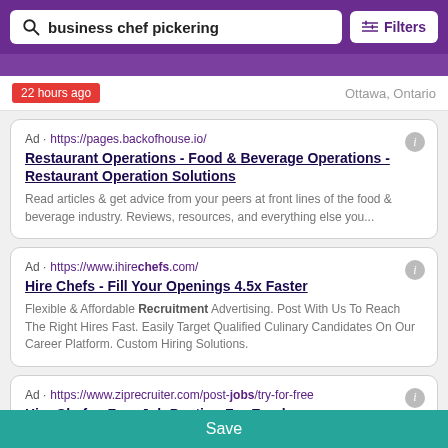business chef pickering  |  Filters
22 hours ago  |  Ottawa, Ontario
Ad · https://pages.backofhouse.io/
Restaurant Operations - Food & Beverage Operations - Restaurant Operation Solutions
Read articles & get advice from your peers at front lines of the food & beverage industry. Reviews, resources, and everything else you...
Ad · https://www.ihirechefs.com/
Hire Chefs - Fill Your Openings 4.5x Faster
Flexible & Affordable Recruitment Advertising. Post With Us To Reach The Right Hires Fast. Easily Target Qualified Culinary Candidates On Our Career Platform. Custom Hiring Solutions.
Ad · https://www.ziprecruiter.com/post-jobs/try-for-free
Hire Chefs - Free Job Posting For Employers
Save